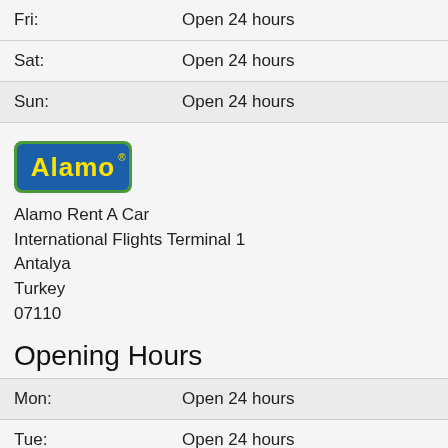| Day | Hours |
| --- | --- |
| Fri: | Open 24 hours |
| Sat: | Open 24 hours |
| Sun: | Open 24 hours |
[Figure (logo): Alamo car rental logo — yellow text 'Alamo' on blue rounded rectangle background with green border]
Alamo Rent A Car
International Flights Terminal 1
Antalya
Turkey
07110
Opening Hours
| Day | Hours |
| --- | --- |
| Mon: | Open 24 hours |
| Tue: | Open 24 hours |